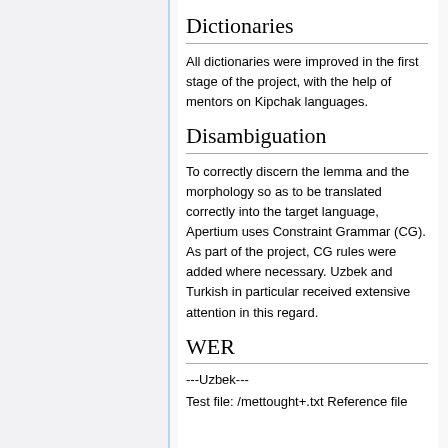Dictionaries
All dictionaries were improved in the first stage of the project, with the help of mentors on Kipchak languages.
Disambiguation
To correctly discern the lemma and the morphology so as to be translated correctly into the target language, Apertium uses Constraint Grammar (CG). As part of the project, CG rules were added where necessary. Uzbek and Turkish in particular received extensive attention in this regard.
WER
---Uzbek---
Test file: /mettought+.txt Reference file